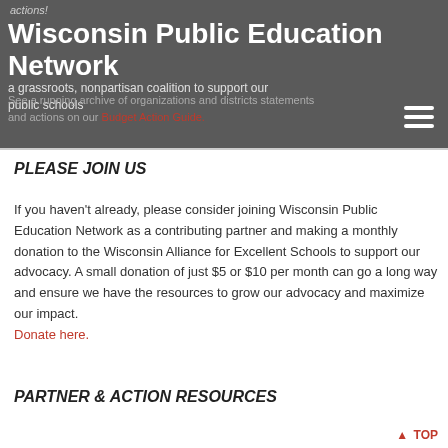actions!
Wisconsin Public Education Network
a grassroots, nonpartisan coalition to support our public schools
See a running archive of organizations and districts statements and actions on our Budget Action Guide.
PLEASE JOIN US
If you haven't already, please consider joining Wisconsin Public Education Network as a contributing partner and making a monthly donation to the Wisconsin Alliance for Excellent Schools to support our advocacy. A small donation of just $5 or $10 per month can go a long way and ensure we have the resources to grow our advocacy and maximize our impact. Donate here.
PARTNER & ACTION RESOURCES
↑ TOP